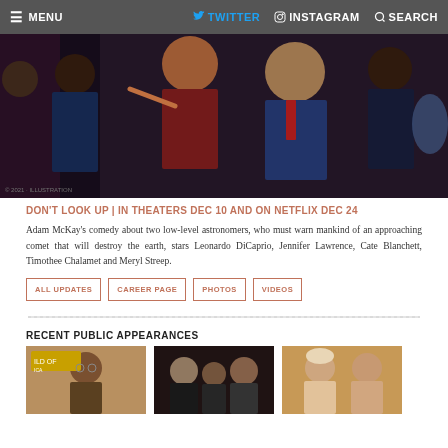≡ MENU  🐦 TWITTER  📷 INSTAGRAM  🔍 SEARCH
[Figure (photo): Movie promotional image for 'Don't Look Up' showing cast members including Jennifer Lawrence and Leonardo DiCaprio]
DON'T LOOK UP | IN THEATERS DEC 10 AND ON NETFLIX DEC 24
Adam McKay's comedy about two low-level astronomers, who must warn mankind of an approaching comet that will destroy the earth, stars Leonardo DiCaprio, Jennifer Lawrence, Cate Blanchett, Timothee Chalamet and Meryl Streep.
ALL UPDATES
CAREER PAGE
PHOTOS
VIDEOS
RECENT PUBLIC APPEARANCES
[Figure (photo): Thumbnail photo 1 - person at event]
[Figure (photo): Thumbnail photo 2 - group of people at event]
[Figure (photo): Thumbnail photo 3 - two women posing together]